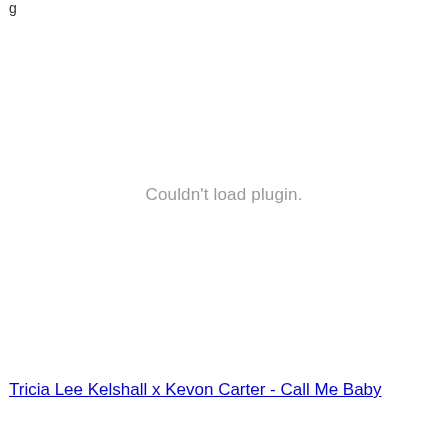Couldn't load plugin.
Tricia Lee Kelshall x Kevon Carter - Call Me Baby